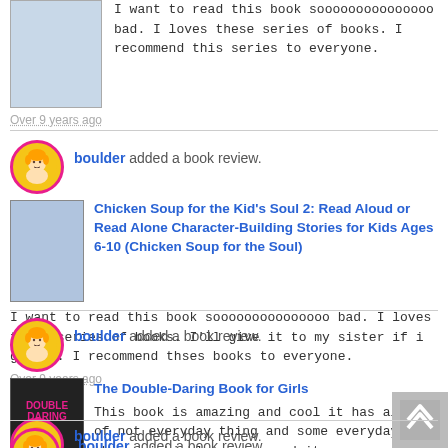I want to read this book sooooooooooooooo bad. I loves these series of books. I recommend this series to everyone.
Over 9 years ago
boulder added a book review.
Chicken Soup for the Kid's Soul 2: Read Aloud or Read Alone Character-Building Stories for Kids Ages 6-10 (Chicken Soup for the Soul)
I want to read this book sooooooooooooooo bad. I loves these series of books. I'll give it to my sister if i get it. I recommend thses books to everyone.
Over 9 years ago
boulder added a book review.
The Double-Daring Book for Girls
This book is amazing and cool it has alot of not everyday thing and some everyday things i highly recommened it.
Over 9 years ago
boulder added a book review.
The Boys' Book of Greatness: Even More Ways to Be the Best at Everything